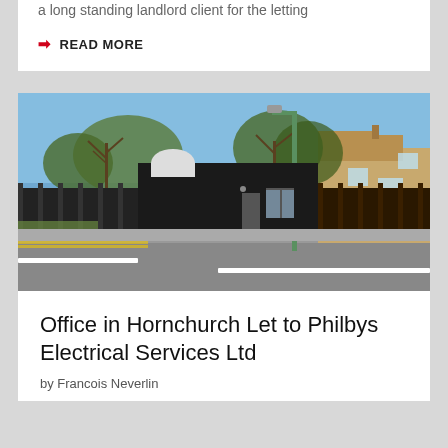a long standing landlord client for the letting
READ MORE
[Figure (photo): Photo of a dark-clad single-storey office building on a street in Hornchurch, with trees and houses behind, blue sky, and a road with white markings in front.]
Office in Hornchurch Let to Philbys Electrical Services Ltd
by Francois Neverlin